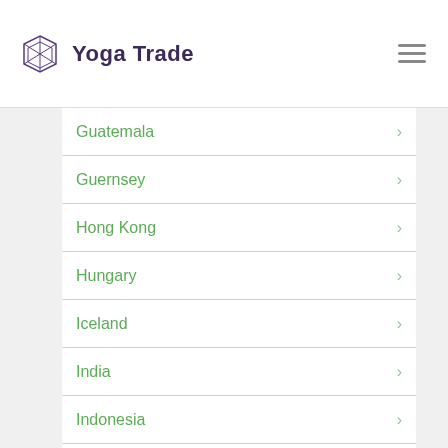Yoga Trade
Guatemala
Guernsey
Hong Kong
Hungary
Iceland
India
Indonesia
Iran